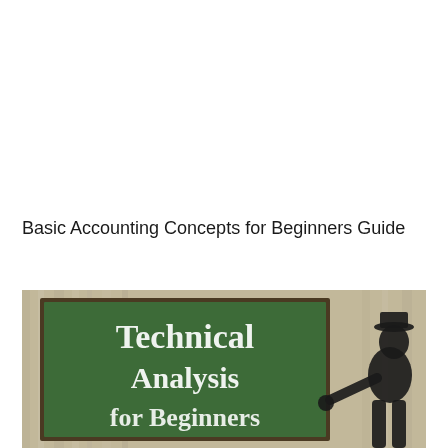Basic Accounting Concepts for Beginners Guide
[Figure (illustration): A chalkboard-style image showing the text 'Technical Analysis for Beginners' written in white chalk font on a green chalkboard, with a wood-panel background and a dark silhouette of a person pointing at the board on the right side.]